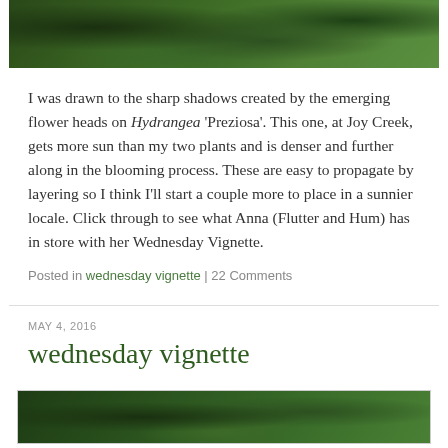[Figure (photo): Top portion of a garden photo showing green foliage and leaves with dark shadows, likely Hydrangea plant]
I was drawn to the sharp shadows created by the emerging flower heads on Hydrangea 'Preziosa'. This one, at Joy Creek, gets more sun than my two plants and is denser and further along in the blooming process. These are easy to propagate by layering so I think I'll start a couple more to place in a sunnier locale. Click through to see what Anna (Flutter and Hum) has in store with her Wednesday Vignette.
Posted in wednesday vignette | 22 Comments
MAY 4, 2016
wednesday vignette
[Figure (photo): Bottom portion showing garden foliage, green leaves and plants]